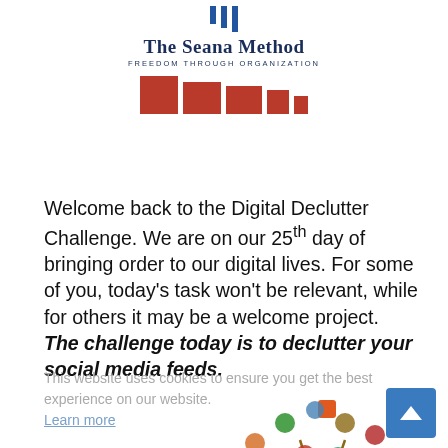[Figure (logo): The Seana Method logo with blue vertical bars, serif brand name, tagline FREEDOM THROUGH ORGANIZATION, and a row of decreasing red square blocks]
Welcome back to the Digital Declutter Challenge. We are on our 25th day of bringing order to our digital lives. For some of you, today's task won't be relevant, while for others it may be a welcome project. The challenge today is to declutter your social media feeds.
This website uses cookies to ensure you get the best experience on our website. Learn more
[Figure (illustration): A social media tree illustration with icons for various social media platforms and digital activities growing from a tree trunk]